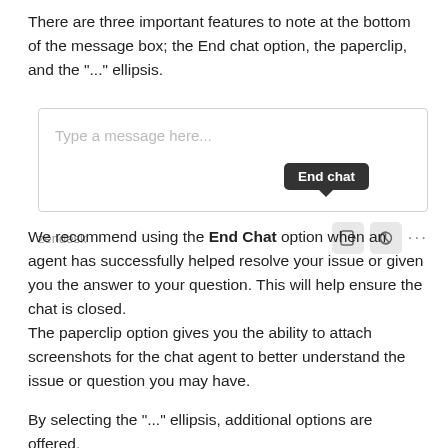There are three important features to note at the bottom of the message box; the End chat option, the paperclip, and the "..." ellipsis.
[Figure (screenshot): Screenshot of a Zendesk chat message box showing a text input area with placeholder 'Type a message here...', an 'End chat' tooltip above the end chat icon button, a paperclip icon, and an ellipsis (...) icon in the footer bar.]
We recommend using the End Chat option when an agent has successfully helped resolve your issue or given you the answer to your question. This will help ensure the chat is closed.
The paperclip option gives you the ability to attach screenshots for the chat agent to better understand the issue or question you may have.
By selecting the "..." ellipsis, additional options are offered.